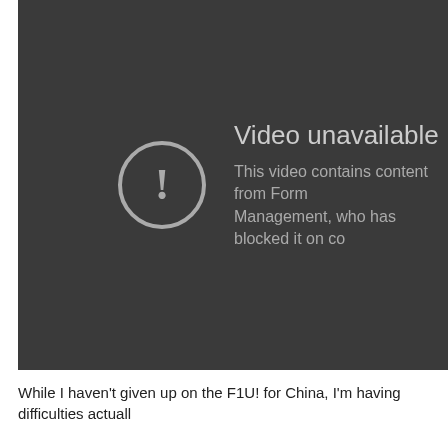[Figure (screenshot): YouTube 'Video unavailable' error screen on a dark background. Shows a circle with exclamation mark icon, 'Video unavailable' heading, and message 'This video contains content from Form... Management, who has blocked it on co...']
While I haven't given up on the F1U! for China, I'm having difficulties actuall...